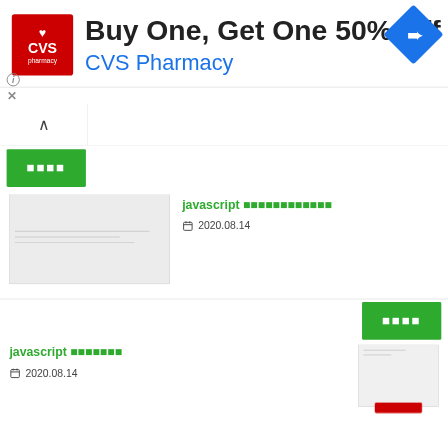[Figure (screenshot): CVS Pharmacy advertisement banner. Red square CVS logo on left, text 'Buy One, Get One 50% Off' in bold, 'CVS Pharmacy' in blue. Navigation diamond icon top right. Info circle and X close icon bottom-left of banner.]
[Figure (screenshot): Navigation bar with up-caret button and search area. Green button with placeholder dots text.]
javascript 한국어텍스트 2020.08.14
javascript 한국어텍스트 2020.08.14